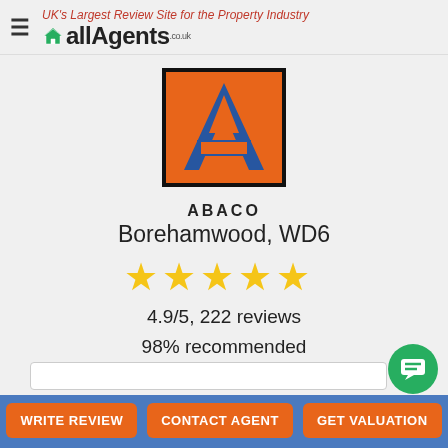UK's Largest Review Site for the Property Industry | allAgents.co.uk
[Figure (logo): ABACO estate agent logo: orange rectangular background with blue letter A shape in the centre, black border]
ABACO
Borehamwood, WD6
[Figure (infographic): Five gold star rating icons]
4.9/5, 222 reviews
98% recommended
100% sales valuation accuracy
75% sales fee satisfaction
82% lettings valuation accuracy
94% lettings fee satisfaction
WRITE REVIEW | CONTACT AGENT | GET VALUATION